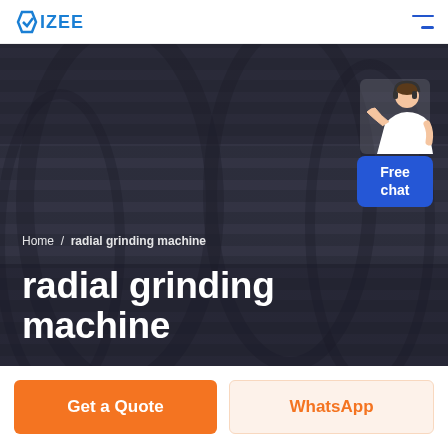IZEE
[Figure (screenshot): Hero banner with blurred/dark image of a person in a striped shirt, overlaid with breadcrumb and large title text. A chat widget showing a customer service agent and 'Free chat' button appears in the top right.]
Home / radial grinding machine
radial grinding machine
Free
chat
Get a Quote
WhatsApp